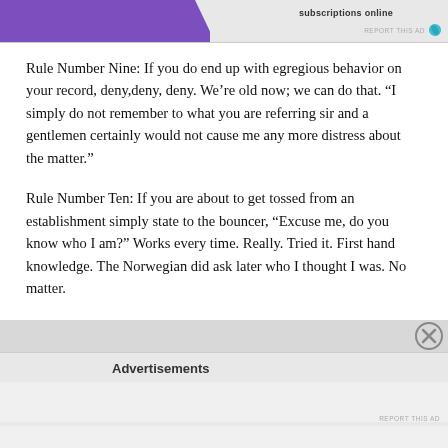[Figure (other): Advertisement banner with purple graphic and 'subscriptions online' text, with a teal leaf icon and 'REPORT THIS AD' label]
Rule Number Nine: If you do end up with egregious behavior on your record, deny,deny, deny. We’re old now; we can do that. “I simply do not remember to what you are referring sir and a gentlemen certainly would not cause me any more distress about the matter.”
Rule Number Ten: If you are about to get tossed from an establishment simply state to the bouncer, “Excuse me, do you know who I am?” Works every time. Really. Tried it. First hand knowledge. The Norwegian did ask later who I thought I was. No matter.
Advertisements